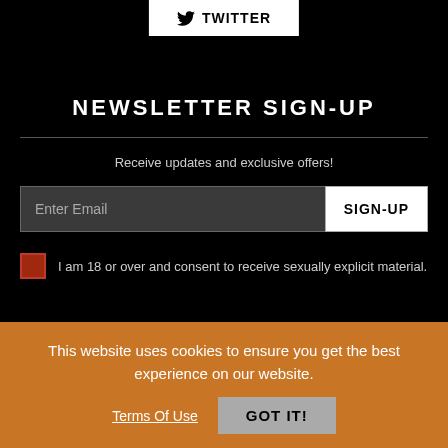[Figure (logo): Twitter button with bird icon and text TWITTER on white background]
NEWSLETTER SIGN-UP
Receive updates and exclusive offers!
Enter Email  SIGN-UP
I am 18 or over and consent to receive sexually explicit material.
CUSTOMER SERVICE
This website uses cookies to ensure you get the best experience on our website.
Terms Of Use   GOT IT!